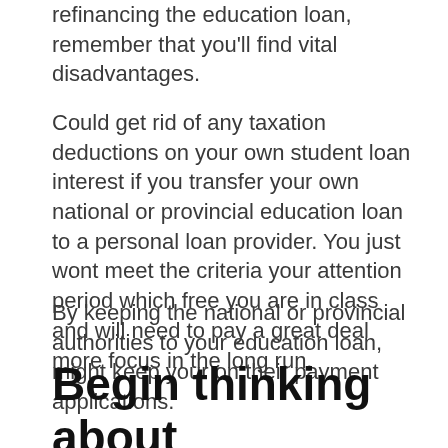refinancing the education loan, remember that you'll find vital disadvantages.
Could get rid of any taxation deductions on your own student loan interest if you transfer your own national or provincial education loan to a personal loan provider. You just wont meet the criteria your attention period which free you are in class and will need to pay a great deal more focus in the long run.
By keeping the national or provincial authorities to your education loan, might keep your on their payment applications.
Begin thinking about concentrating on the next which can help you payback